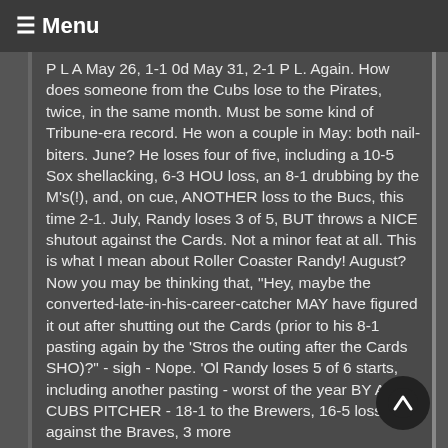☰ Menu
P L A May 26, 1-1 0d May 31, 2-1 P L. Again. How does someone from the Cubs lose to the Pirates, twice, in the same month. Must be some kind of Tribune-era record. He won a couple in May: both nail-biters. June? He loses four of five, including a 10-5 Sox shellacking, 6-3 HOU loss, an 8-1 drubbing by the M's(!), and, on cue, ANOTHER loss to the Bucs, this time 2-1. July, Randy loses 3 of 5, BUT throws a NICE shutout against the Cards. Not a minor feat at all. This is what I mean about Roller Coaster Randy! August? Now you may be thinking that, "Hey, maybe the converted-late-in-his-career-catcher MAY have figured it out after shutting out the Cards (prior to his 8-1 pasting again by the 'Stros the outing after the Cards SHO)?" - sigh - Nope. 'Ol Randy loses 5 of 6 starts, including another pasting - worst of the year BY ANY CUBS PITCHER - 18-1 to the Brewers, 16-5 loss against the Braves, 3 more